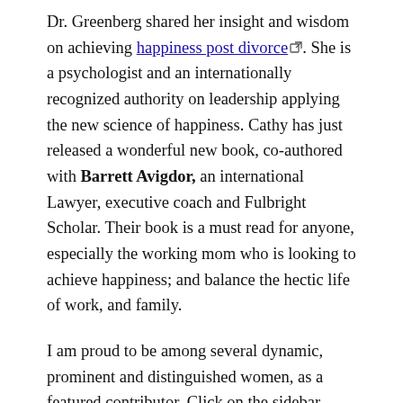Dr. Greenberg shared her insight and wisdom on achieving happiness post divorce [external link icon]. She is a psychologist and an internationally recognized authority on leadership applying the new science of happiness. Cathy has just released a wonderful new book, co-authored with Barrett Avigdor, an international Lawyer, executive coach and Fulbright Scholar. Their book is a must read for anyone, especially the working mom who is looking to achieve happiness; and balance the hectic life of work, and family.
I am proud to be among several dynamic, prominent and distinguished women, as a featured contributor. Click on the sidebar Happy Working Mothers.